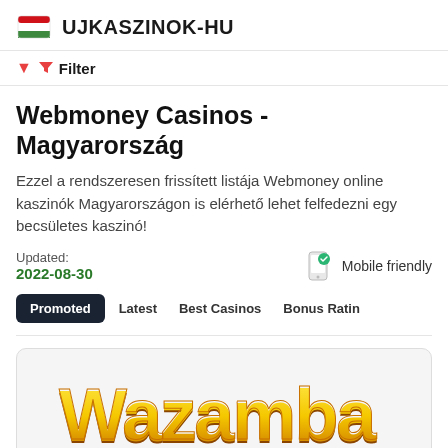UJKASZINOK-HU
Filter
Webmoney Casinos - Magyarország
Ezzel a rendszeresen frissített listája Webmoney online kaszinók Magyarországon is elérhető lehet felfedezni egy becsületes kaszinó!
Updated: 2022-08-30
Mobile friendly
Promoted  Latest  Best Casinos  Bonus Rating
[Figure (logo): Wazamba casino logo in large yellow 3D-style lettering]